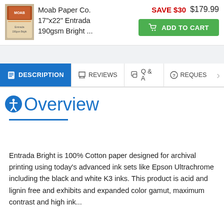[Figure (photo): Product image of Moab Paper Co. 17x22 Entrada 190gsm Bright paper package]
Moab Paper Co.
17"x22" Entrada
190gsm Bright ...
SAVE $30  $179.99
ADD TO CART
DESCRIPTION
REVIEWS
Q & A
REQUES
Overview
Entrada Bright is 100% Cotton paper designed for archival printing using today's advanced ink sets like Epson Ultrachrome including the black and white K3 inks. This product is acid and lignin free and exhibits and expanded color gamut, maximum contrast and high ink...